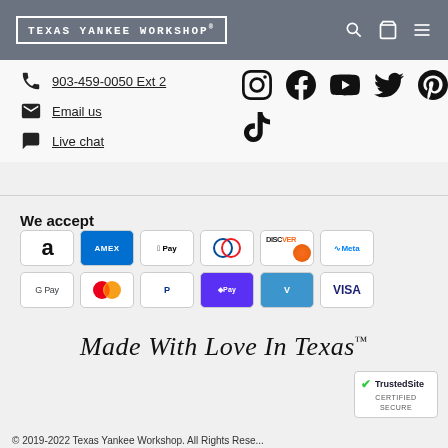TEXAS YANKEE WORKSHOP®
903-459-0050 Ext 2
Email us
Live chat
[Figure (logo): Social media icons: Instagram, Facebook, YouTube, Twitter, Pinterest, TikTok]
We accept
[Figure (infographic): Payment method badges: Amazon, Amex, Apple Pay, Diners Club, Discover, Meta Pay, Google Pay, Mastercard, PayPal, Shop Pay, Venmo, Visa]
Made With Love In Texas™
[Figure (logo): TrustedSite Certified Secure badge]
© 2019-2022 Texas Yankee Workshop. All Rights Rese...